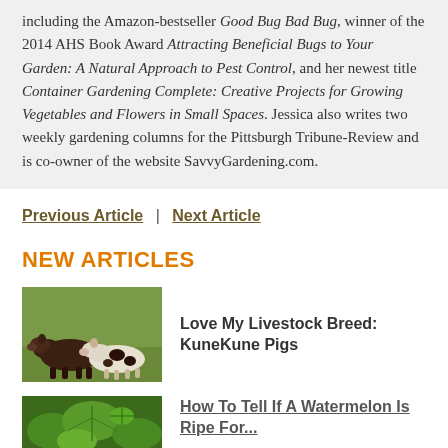including the Amazon-bestseller Good Bug Bad Bug, winner of the 2014 AHS Book Award Attracting Beneficial Bugs to Your Garden: A Natural Approach to Pest Control, and her newest title Container Gardening Complete: Creative Projects for Growing Vegetables and Flowers in Small Spaces. Jessica also writes two weekly gardening columns for the Pittsburgh Tribune-Review and is co-owner of the website SavvyGardening.com.
Previous Article | Next Article
NEW ARTICLES
Love My Livestock Breed: KuneKune Pigs
[Figure (photo): Two KuneKune pigs, one dark brown and one spotted black and white, standing in a grassy field]
How To Tell If A Watermelon Is Ripe For...
[Figure (photo): Close-up of green watermelon plant with leaves]